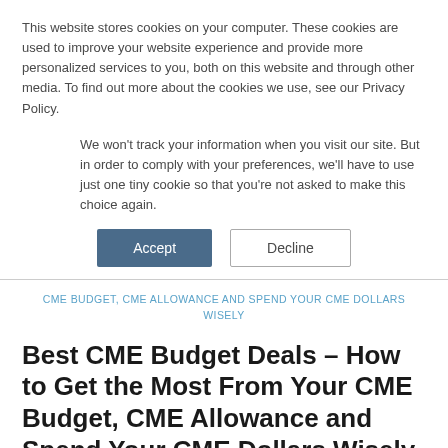This website stores cookies on your computer. These cookies are used to improve your website experience and provide more personalized services to you, both on this website and through other media. To find out more about the cookies we use, see our Privacy Policy.
We won't track your information when you visit our site. But in order to comply with your preferences, we'll have to use just one tiny cookie so that you're not asked to make this choice again.
Accept | Decline
CME BUDGET, CME ALLOWANCE AND SPEND YOUR CME DOLLARS WISELY
Best CME Budget Deals – How to Get the Most From Your CME Budget, CME Allowance and Spend Your CME Dollars Wisely
Nancy M. Anderson, MBA, MS  /  June 2, 2020  /
Emergency Medicine, Family Medicine, Internal Medicine, Medical News, Nurse Practitioner, Pediatric Emergency Medicine,